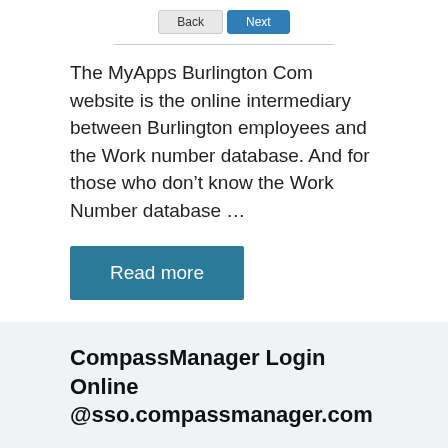[Figure (screenshot): Navigation buttons: Back (grey) and Next (blue)]
The MyApps Burlington Com website is the online intermediary between Burlington employees and the Work number database. And for those who don't know the Work Number database …
[Figure (other): Read more button (teal/dark blue rectangle)]
CompassManager Login Online @sso.compassmanager.com